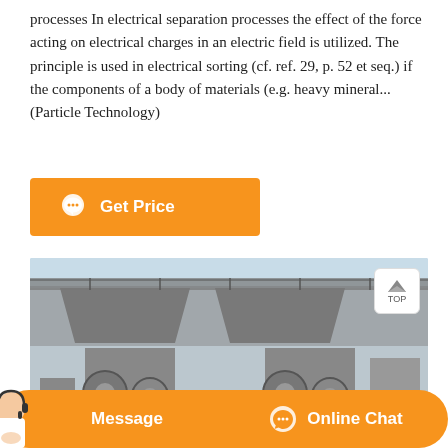processes In electrical separation processes the effect of the force acting on electrical charges in an electric field is utilized. The principle is used in electrical sorting (cf. ref. 29, p. 52 et seq.) if the components of a body of materials (e.g. heavy mineral... (Particle Technology)
[Figure (other): Orange 'Get Price' button with chat bubble icon]
[Figure (photo): Industrial photo showing large jaw crusher or mineral processing equipment outdoors, with two large pyramid-shaped hoppers and heavy machinery in an industrial yard setting.]
[Figure (other): Bottom navigation bar with orange 'Message' button on left and orange 'Online Chat' button with headset icon on right; person with headset visible at left.]